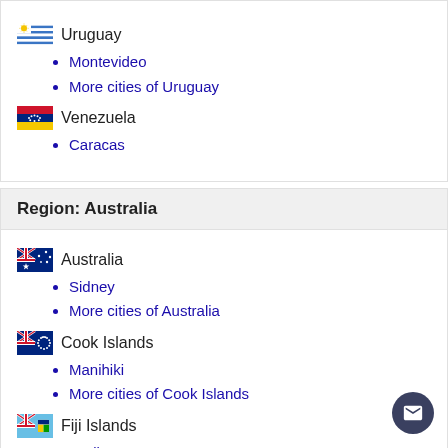Uruguay
Montevideo
More cities of Uruguay
Venezuela
Caracas
Region: Australia
Australia
Sidney
More cities of Australia
Cook Islands
Manihiki
More cities of Cook Islands
Fiji Islands
Nadi